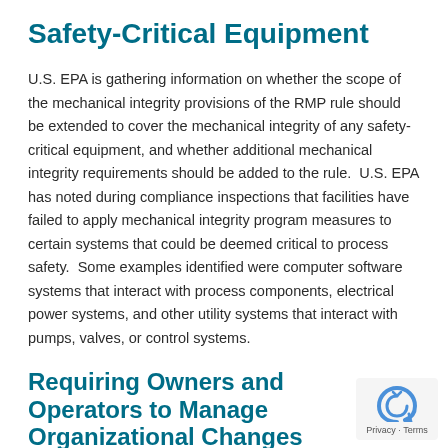Safety-Critical Equipment
U.S. EPA is gathering information on whether the scope of the mechanical integrity provisions of the RMP rule should be extended to cover the mechanical integrity of any safety-critical equipment, and whether additional mechanical integrity requirements should be added to the rule.  U.S. EPA has noted during compliance inspections that facilities have failed to apply mechanical integrity program measures to certain systems that could be deemed critical to process safety.  Some examples identified were computer software systems that interact with process components, electrical power systems, and other utility systems that interact with pumps, valves, or control systems.
Requiring Owners and Operators to Manage Organizational Changes